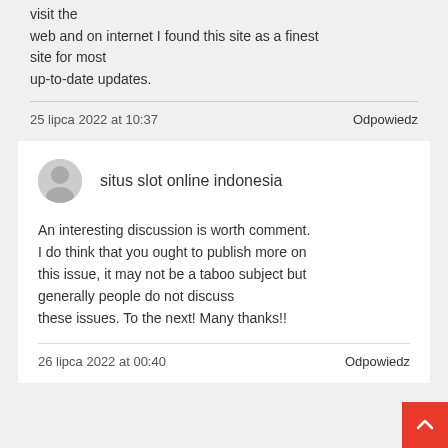visit the web and on internet I found this site as a finest site for most up-to-date updates.
25 lipca 2022 at 10:37
Odpowiedz
situs slot online indonesia
An interesting discussion is worth comment. I do think that you ought to publish more on this issue, it may not be a taboo subject but generally people do not discuss these issues. To the next! Many thanks!!
26 lipca 2022 at 00:40
Odpowiedz